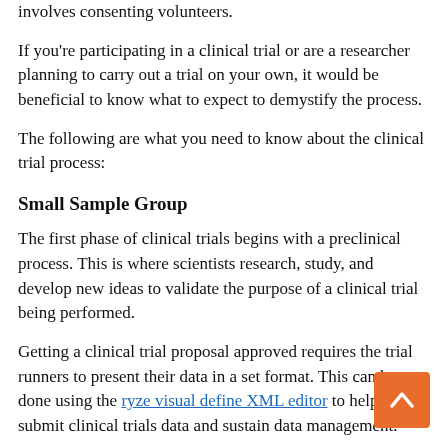involves consenting volunteers.
If you're participating in a clinical trial or are a researcher planning to carry out a trial on your own, it would be beneficial to know what to expect to demystify the process.
The following are what you need to know about the clinical trial process:
Small Sample Group
The first phase of clinical trials begins with a preclinical process. This is where scientists research, study, and develop new ideas to validate the purpose of a clinical trial being performed.
Getting a clinical trial proposal approved requires the trial runners to present their data in a set format. This can be done using the ryze visual define XML editor to help you submit clinical trials data and sustain data management.
If the research is promising and gets enough backing, then it can move on to the investigating group searching for volunteers. The group of volunteers has to meet specific criteria set by the trial runners to be selected. This ensures the trials are carried out